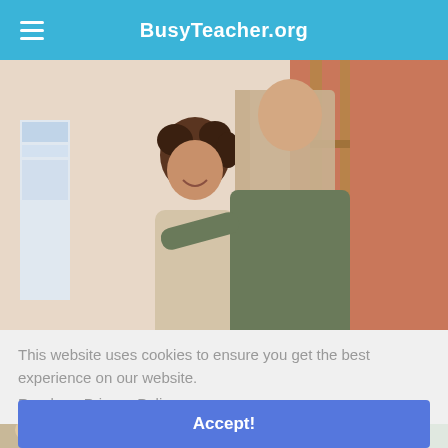BusyTeacher.org
[Figure (photo): A young girl with curly hair and a teacher with long straight hair interacting in a classroom setting. The teacher is wearing a green dress and reaching toward the child.]
This website uses cookies to ensure you get the best experience on our website.
Read our Privacy Policy
Accept!
[Figure (photo): Partial view of a second photo at the bottom of the page showing a classroom or home setting.]